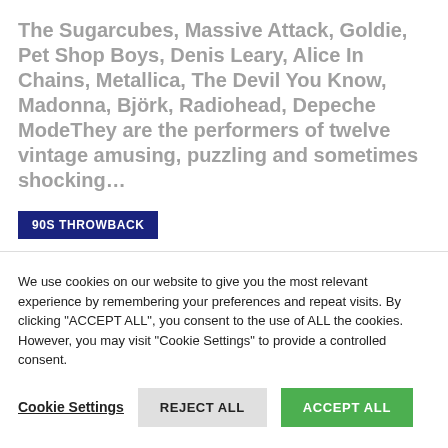The Sugarcubes, Massive Attack, Goldie, Pet Shop Boys, Denis Leary, Alice In Chains, Metallica, The Devil You Know, Madonna, Björk, Radiohead, Depeche ModeThey are the performers of twelve vintage amusing, puzzling and sometimes shocking...
90S THROWBACK
We use cookies on our website to give you the most relevant experience by remembering your preferences and repeat visits. By clicking "ACCEPT ALL", you consent to the use of ALL the cookies. However, you may visit "Cookie Settings" to provide a controlled consent.
Cookie Settings | REJECT ALL | ACCEPT ALL